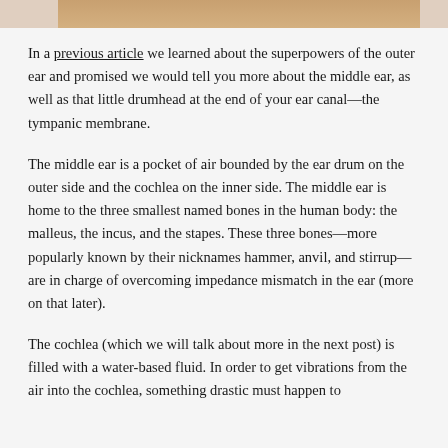[Figure (photo): Partial image of a person's ear or head, cropped at the top of the page]
In a previous article we learned about the superpowers of the outer ear and promised we would tell you more about the middle ear, as well as that little drumhead at the end of your ear canal—the tympanic membrane.
The middle ear is a pocket of air bounded by the ear drum on the outer side and the cochlea on the inner side. The middle ear is home to the three smallest named bones in the human body: the malleus, the incus, and the stapes. These three bones—more popularly known by their nicknames hammer, anvil, and stirrup—are in charge of overcoming impedance mismatch in the ear (more on that later).
The cochlea (which we will talk about more in the next post) is filled with a water-based fluid. In order to get vibrations from the air into the cochlea, something drastic must happen to